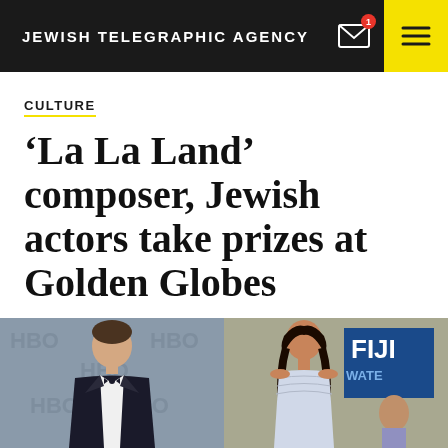JEWISH TELEGRAPHIC AGENCY
CULTURE
‘La La Land’ composer, Jewish actors take prizes at Golden Globes
JANUARY 9, 2017   6:44 AM
[Figure (photo): Two side-by-side red carpet photos: left shows a young man in a tuxedo with bow tie in front of HBO backdrop; right shows a woman in a strapless dress in front of a FIJI Water backdrop.]